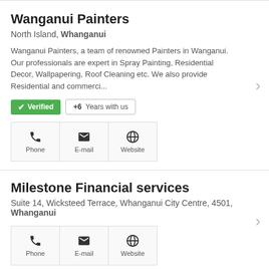Wanganui Painters
North Island, Whanganui
Wanganui Painters, a team of renowned Painters in Wanganui. Our professionals are expert in Spray Painting, Residential Decor, Wallpapering, Roof Cleaning etc. We also provide Residential and commerci...
✓ Verified  +6 Years with us
[Figure (infographic): Contact icons: Phone, E-mail, Website]
Milestone Financial services
Suite 14, Wicksteed Terrace, Whanganui City Centre, 4501, Whanganui
[Figure (infographic): Contact icons: Phone, E-mail, Website]